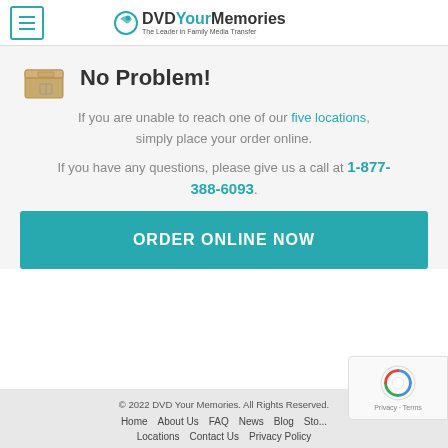DVD Your Memories - The Leader in Family Media Transfer
No Problem!
If you are unable to reach one of our five locations, simply place your order online.
If you have any questions, please give us a call at 1-877-388-6093.
ORDER ONLINE NOW
© 2022 DVD Your Memories. All Rights Reserved. Home About Us FAQ News Blog Sto... Locations Contact Us Privacy Policy